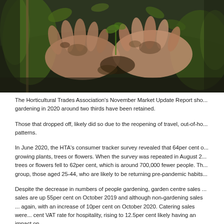[Figure (photo): Close-up photograph of two hands with dirty fingernails pressing into dark soil among green plant seedlings and stems]
The Horticultural Trades Association's November Market Update Report sho... gardening in 2020 around two thirds have been retained.
Those that dropped off, likely did so due to the reopening of travel, out-of-ho... patterns.
In June 2020, the HTA's consumer tracker survey revealed that 64per cent o... growing plants, trees or flowers. When the survey was repeated in August 2... trees or flowers fell to 62per cent, which is around 700,000 fewer people. Th... group, those aged 25-44, who are likely to be returning pre-pandemic habits...
Despite the decrease in numbers of people gardening, garden centre sales ... sales are up 55per cent on October 2019 and although non-gardening sales ... again, with an increase of 10per cent on October 2020. Catering sales were... cent VAT rate for hospitality, rising to 12.5per cent likely having an impact on...